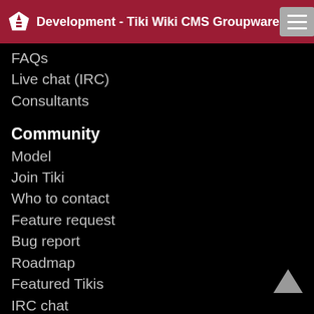Development - Tiki Wiki CMS Groupware
FAQs
Live chat (IRC)
Consultants
Community
Model
Join Tiki
Who to contact
Feature request
Bug report
Roadmap
Featured Tikis
IRC chat
Events
Videos
Get Started
Download